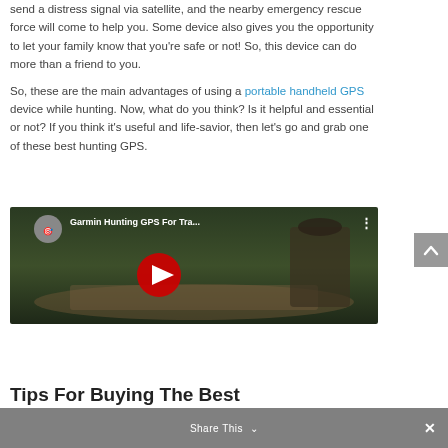send a distress signal via satellite, and the nearby emergency rescue force will come to help you. Some device also gives you the opportunity to let your family know that you're safe or not! So, this device can do more than a friend to you.
So, these are the main advantages of using a portable handheld GPS device while hunting. Now, what do you think? Is it helpful and essential or not? If you think it's useful and life-savior, then let's go and grab one of these best hunting GPS.
[Figure (screenshot): YouTube video thumbnail showing a person in camouflage outdoors with title 'Garmin Hunting GPS For Tra...' and a red play button]
Share This ∨
Tips For Buying The Best